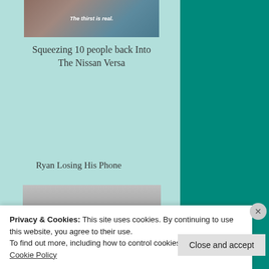[Figure (photo): Meme image with text 'The thirst is real.' overlaid on a photo]
Squeezing 10 people back Into The Nissan Versa
Ryan Losing His Phone
[Figure (photo): Partial photo visible at bottom of page]
Privacy & Cookies: This site uses cookies. By continuing to use this website, you agree to their use.
To find out more, including how to control cookies, see here: Cookie Policy
Close and accept